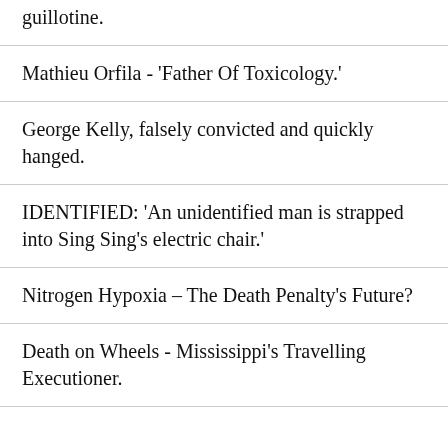guillotine.
Mathieu Orfila - 'Father Of Toxicology.'
George Kelly, falsely convicted and quickly hanged.
IDENTIFIED: 'An unidentified man is strapped into Sing Sing's electric chair.'
Nitrogen Hypoxia – The Death Penalty's Future?
Death on Wheels - Mississippi's Travelling Executioner.